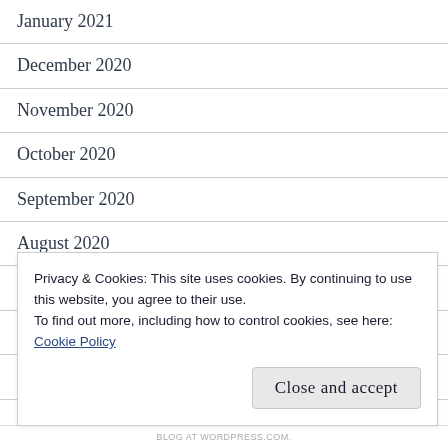January 2021
December 2020
November 2020
October 2020
September 2020
August 2020
July 2020
May 2020
April 2020
Privacy & Cookies: This site uses cookies. By continuing to use this website, you agree to their use.
To find out more, including how to control cookies, see here:
Cookie Policy
Close and accept
BLOG AT WORDPRESS.COM.